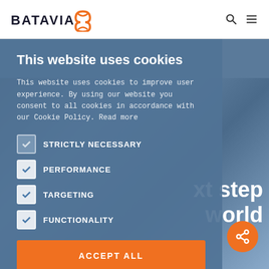[Figure (logo): Batavia logo with orange hourglass/infinity symbol and dark 'BATAVIA' text]
This website uses cookies
This website uses cookies to improve user experience. By using our website you consent to all cookies in accordance with our Cookie Policy. Read more
STRICTLY NECESSARY
PERFORMANCE
TARGETING
FUNCTIONALITY
ACCEPT ALL
SHOW DETAILS
xt step world
[Figure (infographic): Orange circular share button with share icon]